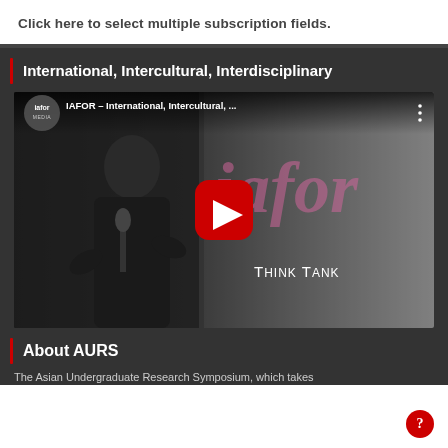Click here to select multiple subscription fields.
International, Intercultural, Interdisciplinary
[Figure (screenshot): YouTube video thumbnail showing a man speaking at a podium with 'iafor Think Tank' branding and pink 'iafor' text in the background. Video title: 'IAFOR – International, Intercultural, ...' with IAFOR Media logo. Red YouTube play button centered on the image.]
About AURS
The Asian Undergraduate Research Symposium, which takes